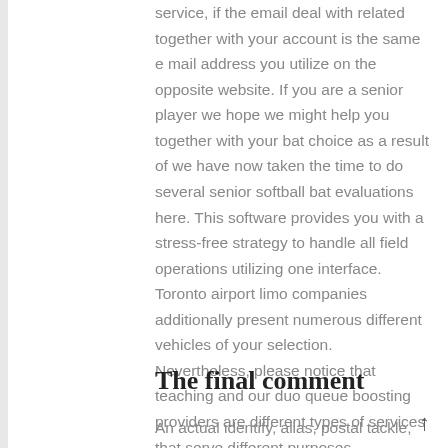service, if the email deal with related together with your account is the same e mail address you utilize on the opposite website. If you are a senior player we hope we might help you together with your bat choice as a result of we have now taken the time to do several senior softball bat evaluations here. This software provides you with a stress-free strategy to handle all field operations utilizing one interface. Toronto airport limo companies additionally present numerous different vehicles of your selection. Nevertheless, please notice that teaching and our duo queue boosting providers are different types of services that serve different purposes.
The final comment
An actual identify, alias, postal tackle, unique